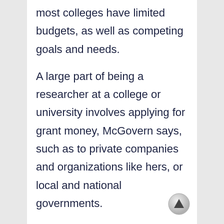most colleges have limited budgets, as well as competing goals and needs.
A large part of being a researcher at a college or university involves applying for grant money, McGovern says, such as to private companies and organizations like hers, or local and national governments.
The National Institutes of Health, or NIH, is an example. The NIH is the U.S. government agency that